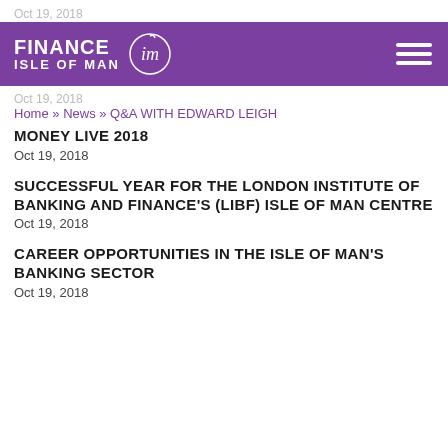Oct 19, 2018
[Figure (logo): Finance Isle of Man logo with purple navigation bar and hamburger menu]
Oct 19, 2018
Home » News » Q&A WITH EDWARD LEIGH
MONEY LIVE 2018
Oct 19, 2018
SUCCESSFUL YEAR FOR THE LONDON INSTITUTE OF BANKING AND FINANCE'S (LIBF) ISLE OF MAN CENTRE
Oct 19, 2018
CAREER OPPORTUNITIES IN THE ISLE OF MAN'S BANKING SECTOR
Oct 19, 2018